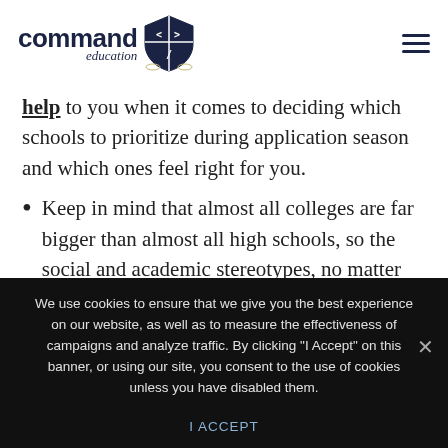command education [logo with shield]
help to you when it comes to deciding which schools to prioritize during application season and which ones feel right for you.
Keep in mind that almost all colleges are far bigger than almost all high schools, so the social and academic stereotypes, no matter how pervasive, are only
We use cookies to ensure that we give you the best experience on our website, as well as to measure the effectiveness of campaigns and analyze traffic. By clicking "I Accept" on this banner, or using our site, you consent to the use of cookies unless you have disabled them.
I ACCEPT